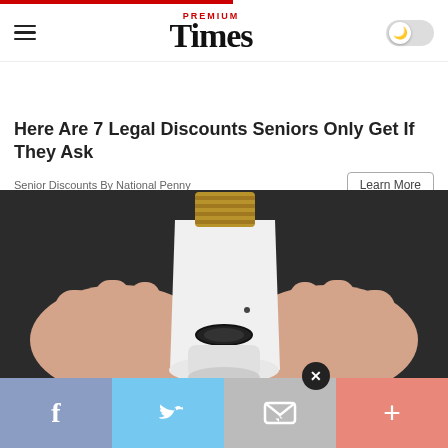Premium Times
Here Are 7 Legal Discounts Seniors Only Get If They Ask
Senior Discounts By National Penny
[Figure (photo): A hand holding a white smart light bulb security camera device against a dark background]
Social share bar: Facebook, Twitter, Email, More (+)